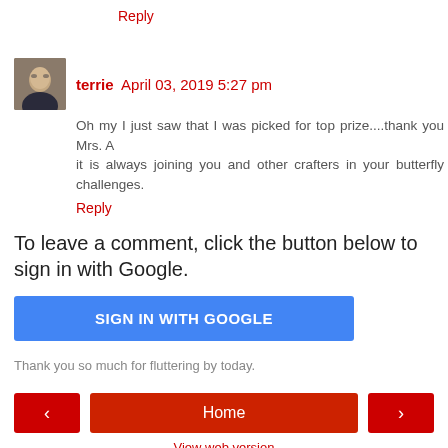Reply
terrie  April 03, 2019 5:27 pm
Oh my I just saw that I was picked for top prize....thank you Mrs. A
it is always joining you and other crafters in your butterfly challenges.
Reply
To leave a comment, click the button below to sign in with Google.
SIGN IN WITH GOOGLE
Thank you so much for fluttering by today.
< Home >
View web version